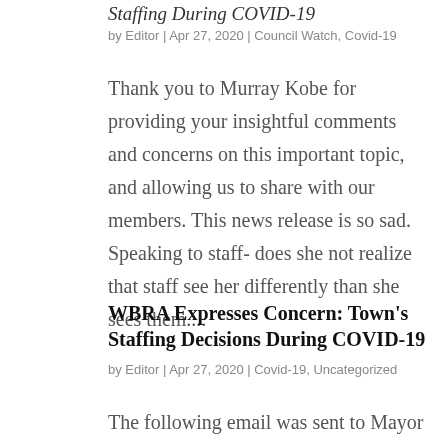Staffing During COVID-19
by Editor | Apr 27, 2020 | Council Watch, Covid-19
Thank you to Murray Kobe for providing your insightful comments and concerns on this important topic, and allowing us to share with our members. This news release is so sad. Speaking to staff- does she not realize that staff see her differently than she sees them....
WBRA Expresses Concern: Town's Staffing Decisions During COVID-19
by Editor | Apr 27, 2020 | Covid-19, Uncategorized
The following email was sent to Mayor